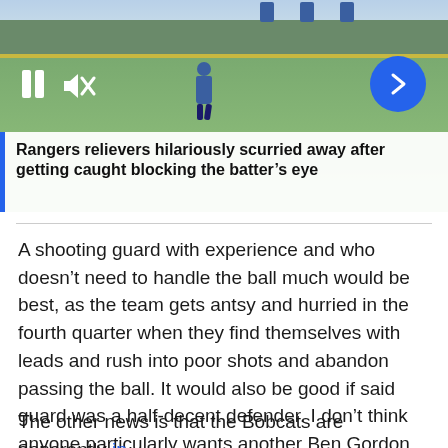[Figure (photo): Baseball outfield photo with video player controls (pause button, mute button, next arrow). Shows outfield wall and a player on the field. Video overlay caption: Rangers relievers hilariously scurried away after getting caught blocking the batter's eye]
Rangers relievers hilariously scurried away after getting caught blocking the batter’s eye
A shooting guard with experience and who doesn’t need to handle the ball much would be best, as the team gets antsy and hurried in the fourth quarter when they find themselves with leads and rush into poor shots and abandon passing the ball. It would also be good if said guard was a half-decent defender. I don’t think anyone particularly wants another Ben Gordon.
The other news is that the Bobcats are apparently in